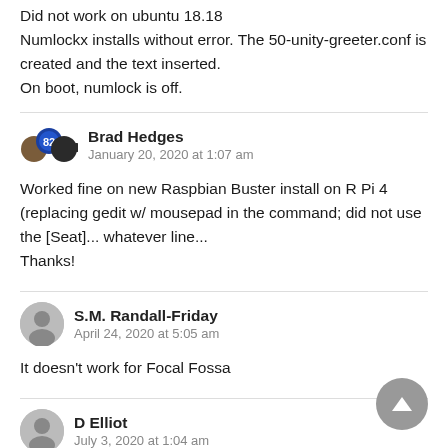Did not work on ubuntu 18.18
Numlockx installs without error. The 50-unity-greeter.conf is created and the text inserted.
On boot, numlock is off.
Brad Hedges
January 20, 2020 at 1:07 am
Worked fine on new Raspbian Buster install on R Pi 4 (replacing gedit w/ mousepad in the command; did not use the [Seat]... whatever line...
Thanks!
S.M. Randall-Friday
April 24, 2020 at 5:05 am
It doesn't work for Focal Fossa
D Elliot
July 3, 2020 at 1:04 am